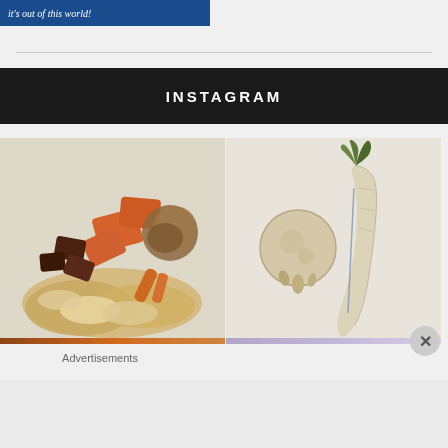[Figure (screenshot): Blue advertisement banner with italic white text: it's out of this world!]
INSTAGRAM
[Figure (photo): Food photo showing various snacks including orange crackers, dark pieces, and fried/puffed items arranged on a white surface]
[Figure (photo): Vegetable photo showing a round celeriac/turnip and a long white parsnip/daikon radish on a light background]
Advertisements